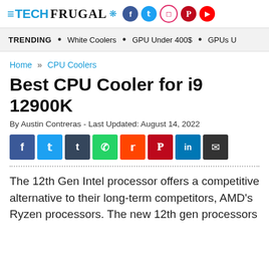TECH FRUGAL
TRENDING • White Coolers • GPU Under 400$ • GPUs U...
Home » CPU Coolers
Best CPU Cooler for i9 12900K
By Austin Contreras - Last Updated: August 14, 2022
The 12th Gen Intel processor offers a competitive alternative to their long-term competitors, AMD's Ryzen processors. The new 12th gen processors